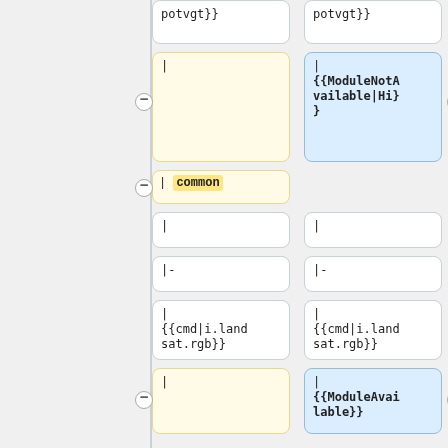[Figure (screenshot): Diff view showing two columns of wiki template code boxes. Left column shows yellow-highlighted (removed) boxes and right column shows blue-highlighted (added) boxes. Boxes contain wiki syntax including template calls like potvgt}}, |, common, |-, {{cmd|i.landsat.rgb}}, {{ModuleNotAvailable|Hi}}, {{ModuleAvailable}}.]
potvgt}}
potvgt}}
|
| {{ModuleNotAvailable|Hi}}
| common
|
|
|-
|-
| {{cmd|i.landsat.rgb}}
| {{cmd|i.landsat.rgb}}
|
| {{ModuleAvailable}}
| common
| common
|